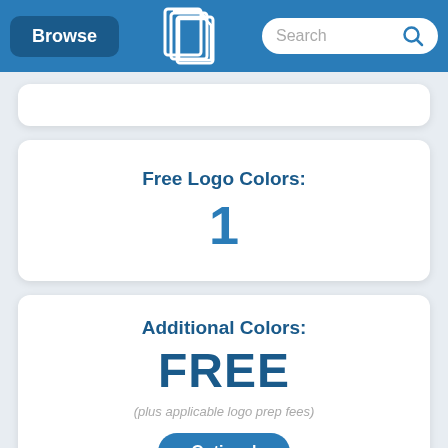Browse | [logo] | Search
Free Logo Colors: 1
Additional Colors: FREE (plus applicable logo prep fees)
Optional